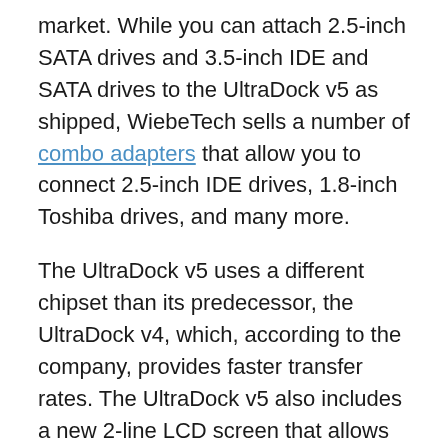market. While you can attach 2.5-inch SATA drives and 3.5-inch IDE and SATA drives to the UltraDock v5 as shipped, WiebeTech sells a number of combo adapters that allow you to connect 2.5-inch IDE drives, 1.8-inch Toshiba drives, and many more.
The UltraDock v5 uses a different chipset than its predecessor, the UltraDock v4, which, according to the company, provides faster transfer rates. The UltraDock v5 also includes a new 2-line LCD screen that allows you to view important drive information and navigate through disk configuration with ease.
Along with being highly versatile, the UltraDock v5 is also easily portable. At a pocket-sized 4.30-by-2.95-by0.87 inches and encased in a durable aluminum body, you can take this adapter anywhere you need to go, or at least anywhere you might